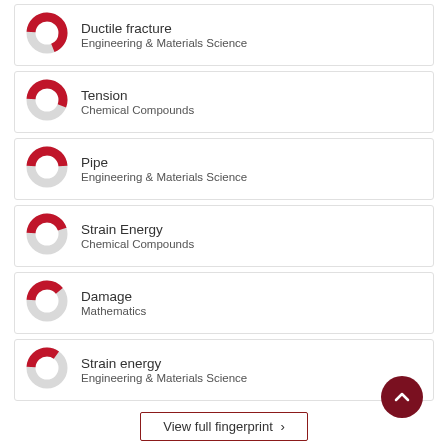Ductile fracture — Engineering & Materials Science
Tension — Chemical Compounds
Pipe — Engineering & Materials Science
Strain Energy — Chemical Compounds
Damage — Mathematics
Strain energy — Engineering & Materials Science
View full fingerprint ›